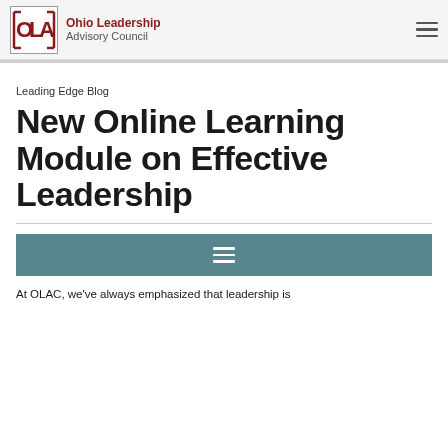[Figure (logo): OLAC Ohio Leadership Advisory Council logo with red square bracket design and text]
Ohio Leadership Advisory Council
Leading Edge Blog
New Online Learning Module on Effective Leadership
[Figure (other): Teal/slate colored button bar with three horizontal white lines (hamburger icon)]
At OLAC, we've always emphasized that leadership is